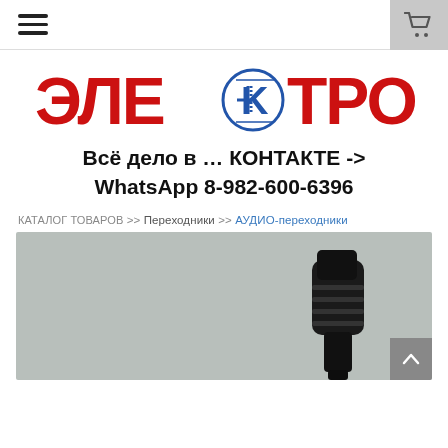Navigation bar with hamburger menu and cart icon
[Figure (logo): ЭЛЕКТРОНИК logo in bold red Cyrillic letters with a blue capacitor/diode symbol replacing the letter E]
Всё дело в … КОНТАКТЕ -> WhatsApp 8-982-600-6396
КАТАЛОГ ТОВАРОВ >> Переходники >> АУДИО-переходники
[Figure (photo): Photo of a black audio adapter/connector on a light grey background]